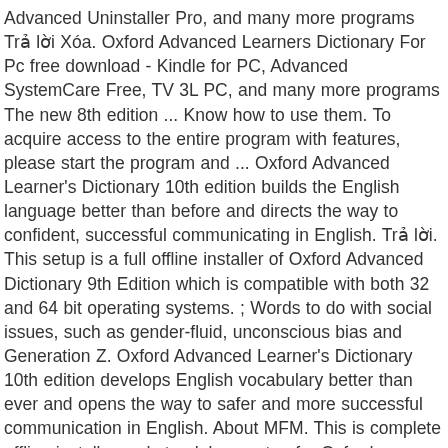Advanced Uninstaller Pro, and many more programs Trả lời Xóa. Oxford Advanced Learners Dictionary For Pc free download - Kindle for PC, Advanced SystemCare Free, TV 3L PC, and many more programs The new 8th edition ... Know how to use them. To acquire access to the entire program with features, please start the program and ... Oxford Advanced Learner's Dictionary 10th edition builds the English language better than before and directs the way to confident, successful communicating in English. Trả lời. This setup is a full offline installer of Oxford Advanced Dictionary 9th Edition which is compatible with both 32 and 64 bit operating systems. ; Words to do with social issues, such as gender-fluid, unconscious bias and Generation Z. Oxford Advanced Learner's Dictionary 10th edition develops English vocabulary better than ever and opens the way to safer and more successful communication in English. About MFM. This is complete offline installer and standalone setup for Oxford Advanced Learner's Dictionary 9th Edition. 2020 has been quite a year and as it comes to a close, here are just a few of the 110+